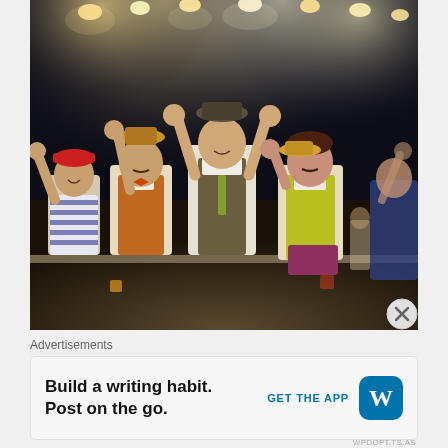[Figure (photo): Performers on a theatrical stage taking a bow, dressed in colorful vintage/circus-style costumes. Several performers are waving to the audience. Stage lighting illuminates the scene from above with warm spotlights against a dark background.]
Advertisements
Build a writing habit. Post on the go.
GET THE APP